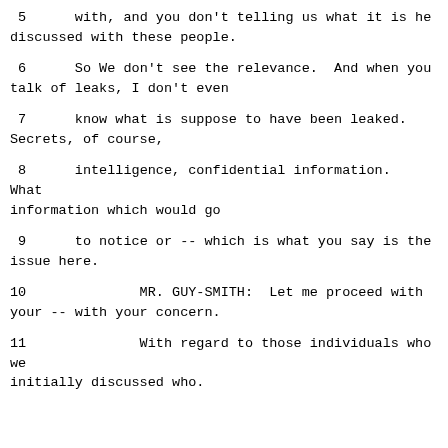5      with, and you don't telling us what it is he discussed with these people.
6      So We don't see the relevance.  And when you talk of leaks, I don't even
7      know what is suppose to have been leaked. Secrets, of course,
8      intelligence, confidential information.  What information which would go
9      to notice or -- which is what you say is the issue here.
10              MR. GUY-SMITH:  Let me proceed with your -- with your concern.
11              With regard to those individuals who we initially discussed who.